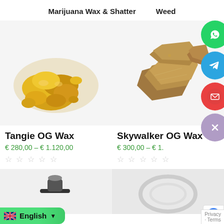Marijuana Wax & Shatter    Weed
[Figure (photo): Close-up photo of golden-yellow cannabis wax/crumble on white background]
[Figure (photo): Close-up photo of brown cannabis shatter pieces on white background]
Tangie OG Wax
€ 280,00 – € 1.120,00
Skywalker OG Wax
€ 300,00 – € 1.
[Figure (photo): Partial product image at bottom left]
[Figure (photo): Partial product image at bottom right]